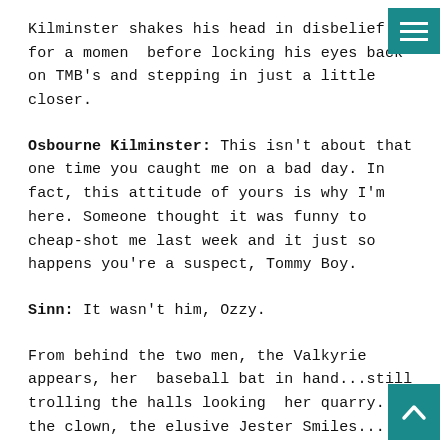Kilminster shakes his head in disbelief for a moment before locking his eyes back on TMB's and stepping in just a little closer.
Osbourne Kilminster: This isn't about that one time you caught me on a bad day. In fact, this attitude of yours is why I'm here. Someone thought it was funny to cheap-shot me last week and it just so happens you're a suspect, Tommy Boy.
Sinn: It wasn't him, Ozzy.
From behind the two men, the Valkyrie appears, her baseball bat in hand...still trolling the halls looking for her quarry... the clown, the elusive Jester Smiles... A